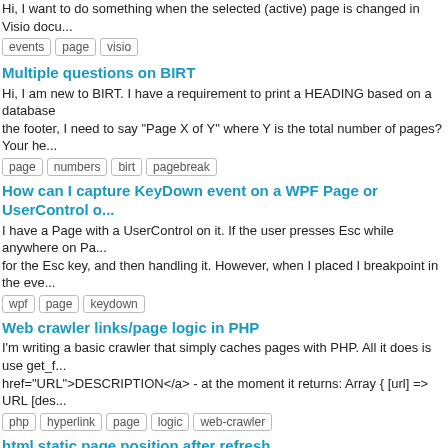Hi, I want to do something when the selected (active) page is changed in Visio docu...
events  page  visio
Multiple questions on BIRT
Hi, I am new to BIRT. I have a requirement to print a HEADING based on a database the footer, I need to say "Page X of Y" where Y is the total number of pages? Your he...
page  numbers  birt  pagebreak
How can I capture KeyDown event on a WPF Page or UserControl o...
I have a Page with a UserControl on it. If the user presses Esc while anywhere on Pa... for the Esc key, and then handling it. However, when I placed I breakpoint in the eve...
wpf  page  keydown
Web crawler links/page logic in PHP
I'm writing a basic crawler that simply caches pages with PHP. All it does is use get_f... href="URL">DESCRIPTION</a> - at the moment it returns: Array { [url] => URL [des...
php  hyperlink  page  logic  web-crawler
html static page position after refresh
I have a page where I would like it to remain static after refresh and does not default scroll down again to find the area I was viewing last. Is there a way of eliminating the...
html  static  page  refresh
How to set the Image / Icon on a WPF Page
I need to know how to set the very top left icon / image on a WPF page. I know how t...
wpf  page
How to use the site's masterpage from a _layout SharePoint page ?
Hi, I want to use a masterpagefile (the site's one if this makes sense) in my SharePo... MasterPageFile="~/_layouts/simple.master" or something like that to my test.aspx pa...
sharepoint  layout  master-pages  page